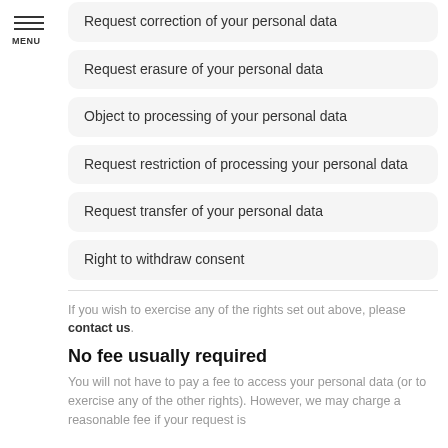MENU
Request correction of your personal data
Request erasure of your personal data
Object to processing of your personal data
Request restriction of processing your personal data
Request transfer of your personal data
Right to withdraw consent
If you wish to exercise any of the rights set out above, please contact us.
No fee usually required
You will not have to pay a fee to access your personal data (or to exercise any of the other rights). However, we may charge a reasonable fee if your request is